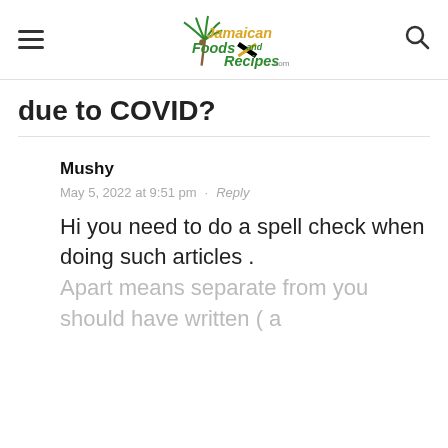Jamaican Foods and Recipes .com
due to COVID?
Mushy
May 5, 2022 at 9:51 pm · Reply
Hi you need to do a spell check when doing such articles . Apart means separate from you should have written ( a